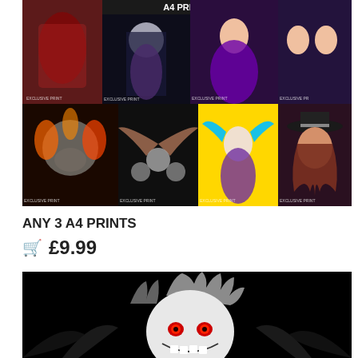[Figure (illustration): A collage of 8 anime and illustration art prints arranged in two rows. Top row: red-toned action figure, dark anime girl with moon, purple-dressed anime girl, two anime characters side by side. Bottom row: skull with dragon and flames, skull wings design on dark background, blue-haired anime girl on yellow, and a stylized woman with hat. The banner text 'A4 PRINTS' is visible at the top. Each print has 'EXCLUSIVE PRINT' watermark.]
ANY 3 A4 PRINTS
🛒 £9.99
[Figure (illustration): Close-up illustration of Ryuk from Death Note anime — a pale ghoulish figure with spiky grey hair, red glowing eyes, and a wide grinning mouth showing teeth, set against a solid black background.]